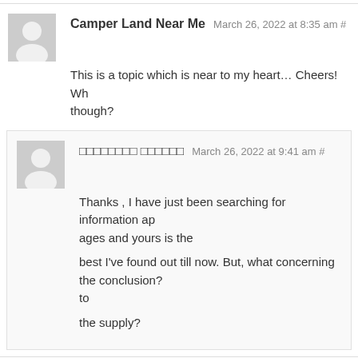Camper Land Near Me March 26, 2022 at 8:35 am # This is a topic which is near to my heart… Cheers! Wh though?
□□□□□□□□ □□□□□□ March 26, 2022 at 9:41 am # Thanks , I have just been searching for information ap ages and yours is the best I've found out till now. But, what concerning the conclusion? to the supply?
view website March 26, 2022 at 12:50 pm #